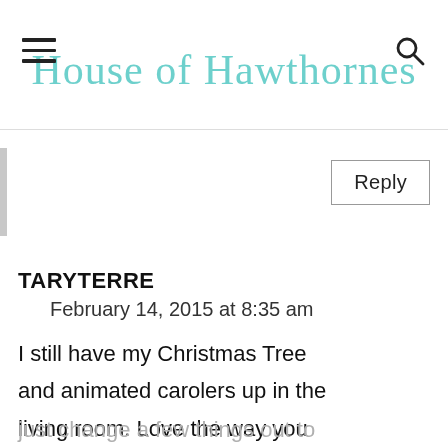House of Hawthornes
Reply
TARYTERRE
February 14, 2015 at 8:35 am
I still have my Christmas Tree and animated carolers up in the living room. Love the way you just change a few things out to